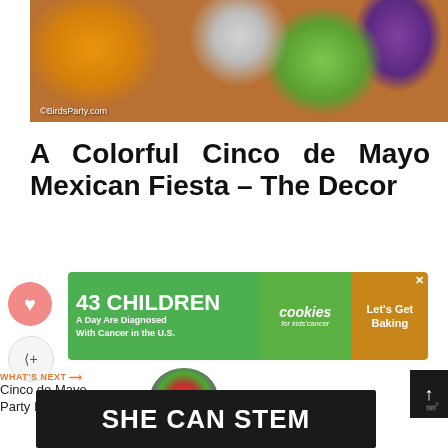[Figure (photo): Top-down view of colorful Cinco de Mayo fiesta table setting with orange, purple, and green decorative plates and cutlery on a wooden surface. Watermark reads ©BirdsParty.com]
A Colorful Cinco de Mayo Mexican Fiesta – The Decor
[Figure (infographic): Advertisement banner: '43 CHILDREN A Day Are Diagnosed With Cancer in the U.S.' with cookies for kids' cancer logo and 'Let's Get Baking' call to action]
[Figure (infographic): What's Next widget: 'Cinco de Mayo Party Ideas |...' with colorful flower thumbnail image]
[Figure (infographic): Bottom advertisement banner: 'SHE CAN STEM' in white bold text on dark background, with 3M degree logo]